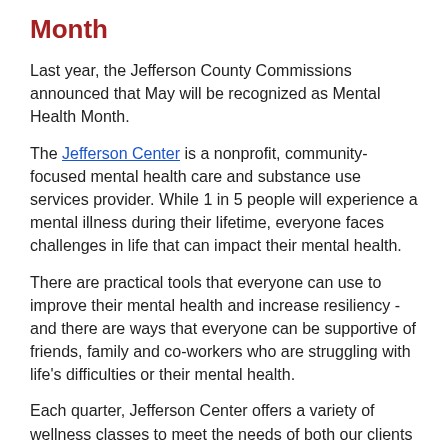Month
Last year, the Jefferson County Commissions announced that May will be recognized as Mental Health Month.
The Jefferson Center is a nonprofit, community-focused mental health care and substance use services provider. While 1 in 5 people will experience a mental illness during their lifetime, everyone faces challenges in life that can impact their mental health.
There are practical tools that everyone can use to improve their mental health and increase resiliency - and there are ways that everyone can be supportive of friends, family and co-workers who are struggling with life's difficulties or their mental health.
Each quarter, Jefferson Center offers a variety of wellness classes to meet the needs of both our clients and the community.
Check out this list of upcoming classes and visit our website to learn more http://ow.ly/AYe450IBaYS